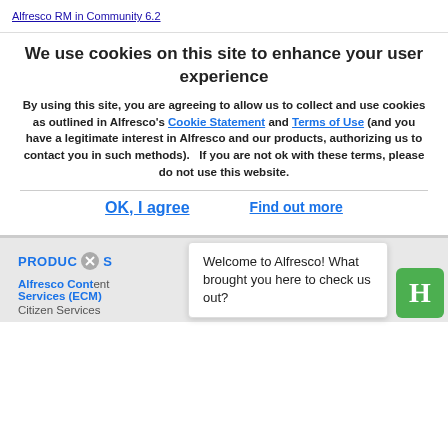Alfresco RM in Community 6.2
We use cookies on this site to enhance your user experience
By using this site, you are agreeing to allow us to collect and use cookies as outlined in Alfresco's Cookie Statement and Terms of Use (and you have a legitimate interest in Alfresco and our products, authorizing us to contact you in such methods).   If you are not ok with these terms, please do not use this website.
OK, I agree
Find out more
PRODUCTS
Alfresco Content Services (ECM)
Citizen Services
Welcome to Alfresco! What brought you here to check us out?